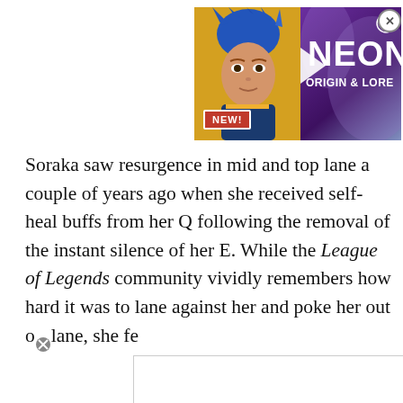[Figure (screenshot): Advertisement thumbnail showing a game character with blue hair on a yellow/blue background on the left, and text 'NEON ORIGIN & LORE' on a purple background on the right. A 'NEW!' badge is shown at the bottom left of the ad. There is a close button (X) at the top right and a D badge on the right side.]
Soraka saw resurgence in mid and top lane a couple of years ago when she received self-heal buffs from her Q following the removal of the instant silence of her E. While the League of Legends community vividly remembers how hard it was to lane against her and poke her out of lane, she fe